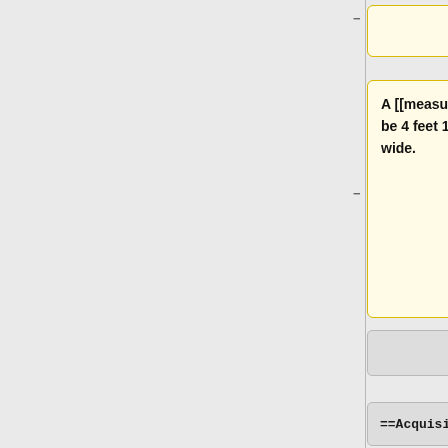A [[measuring tape]] shows it to be 4 feet 1 inch long and 4 inches wide.
==Acquisition==
==Acquisition==
Line 107:
Line 108:
|-
|-
|}
|}
==Related Articles==
<!--descr="Links to other wiki articles."--->